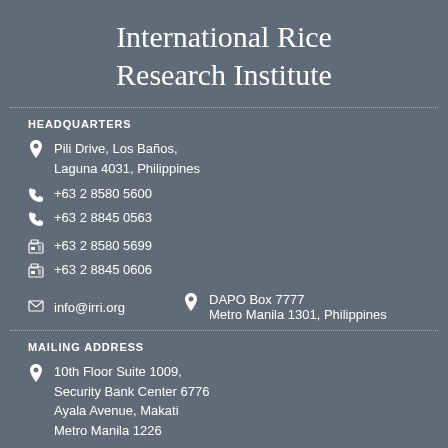International Rice Research Institute
HEADQUARTERS
Pili Drive, Los Baños, Laguna 4031, Philippines
+63 2 8580 5600
+63 2 8845 0563
+63 2 8580 5699
+63 2 8845 0606
DAPO Box 7777
Metro Manila 1301, Philippines
info@irri.org
MAILING ADDRESS
10th Floor Suite 1009,
Security Bank Center 6776
Ayala Avenue, Makati
Metro Manila 1226